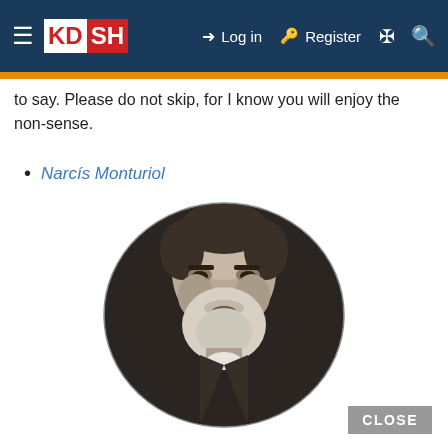KDSH | Log in | Register
to say. Please do not skip, for I know you will enjoy the non-sense.
Narcís Monturiol
[Figure (photo): Oval black-and-white portrait photograph of an elderly bearded man (Narcís Monturiol), wearing a dark suit, looking slightly to the left.]
CLOSE